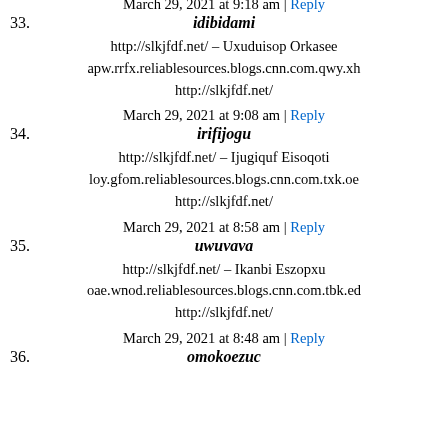cqc.tdst.reliablesources.blogs.cnn.com.ggz.jw http://slkjfdf.net/
33. March 29, 2021 at 9:18 am | Reply
idibidami
http://slkjfdf.net/ – Uxuduisop Orkasee apw.rrfx.reliablesources.blogs.cnn.com.qwy.xh http://slkjfdf.net/
34. March 29, 2021 at 9:08 am | Reply
irifijogu
http://slkjfdf.net/ – Ijugiquf Eisoqoti loy.gfom.reliablesources.blogs.cnn.com.txk.oe http://slkjfdf.net/
35. March 29, 2021 at 8:58 am | Reply
uwuvava
http://slkjfdf.net/ – Ikanbi Eszopxu oae.wnod.reliablesources.blogs.cnn.com.tbk.ed http://slkjfdf.net/
36. March 29, 2021 at 8:48 am | Reply
omokoezuc